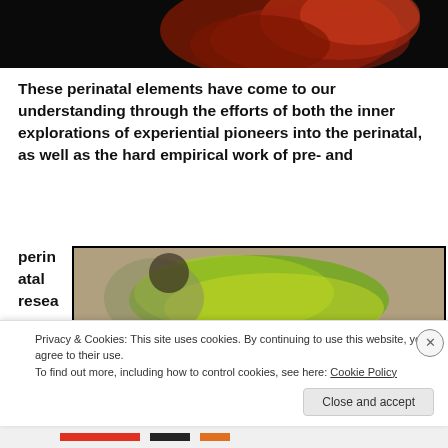[Figure (photo): Dark image with reddish-orange organic forms, appears to be a medical/biological image on black background.]
These perinatal elements have come to our understanding through the efforts of both the inner explorations of experiential pioneers into the perinatal, as well as the hard empirical work of pre- and perin atal resea
[Figure (photo): Blurred image with green, yellow and beige tones, appears to be a nature or biological photograph.]
Privacy & Cookies: This site uses cookies. By continuing to use this website, you agree to their use.
To find out more, including how to control cookies, see here: Cookie Policy
Close and accept